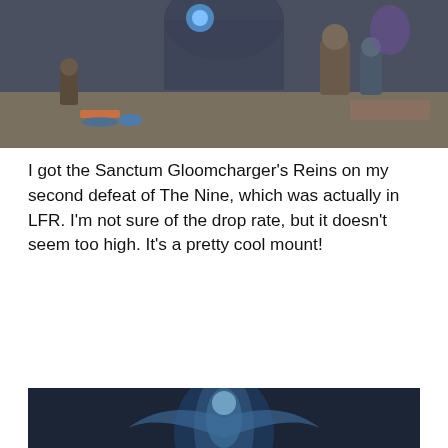[Figure (screenshot): Screenshot of a video game scene (World of Warcraft) showing characters in a fantasy dungeon environment with colorful lighting and ornate architecture.]
I got the Sanctum Gloomcharger's Reins on my second defeat of The Nine, which was actually in LFR. I'm not sure of the drop rate, but it doesn't seem too high. It's a pretty cool mount!
[Figure (screenshot): Second screenshot of a World of Warcraft scene showing a dark environment with blue glowing figure and chains, with a hand visible at the bottom holding a red item.]
Privacy & Cookies: This site uses cookies. By continuing to use this website, you agree to their use.
To find out more, including how to control cookies, see here: Cookie Policy